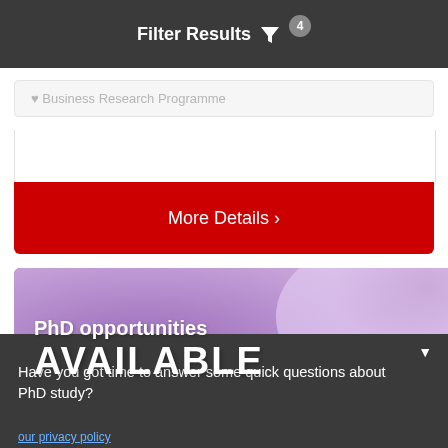Filter Results 4
Business Research Programme
More Details >
[Figure (screenshot): PhD opportunities AVAILABLE banner with purple/lavender blurred background]
Have you got time to answer some quick questions about PhD study?
OK!   Sorry, not right now
our privacy policy